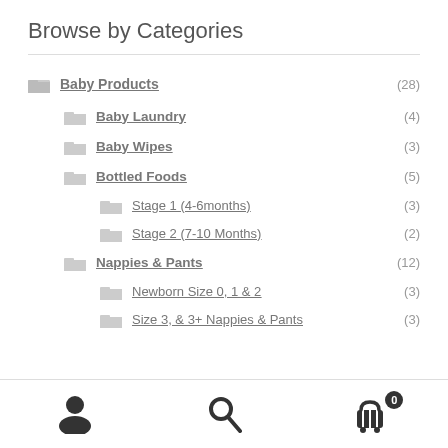Browse by Categories
Baby Products (28)
Baby Laundry (4)
Baby Wipes (3)
Bottled Foods (5)
Stage 1 (4-6months) (3)
Stage 2 (7-10 Months) (2)
Nappies & Pants (12)
Newborn Size 0, 1 & 2 (3)
Size 3, & 3+ Nappies & Pants (3)
[Figure (infographic): Bottom navigation bar with user account icon, search icon, and shopping cart icon with badge showing 0]